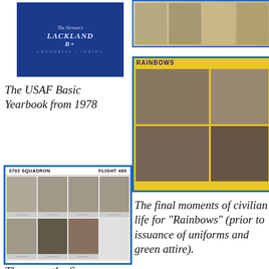[Figure (photo): USAF Basic Training Yearbook cover from 1978, dark blue with embossed text]
The USAF Basic Yearbook from 1978
[Figure (photo): Squadron photo page labeled 3702 SQUADRON FLIGHT 483, showing 7 black and white portrait photos of trainees]
These are the fine
[Figure (photo): Top right collage of photos showing people in civilian or military attire]
[Figure (photo): Rainbows page spread with yellow/blue border showing group photos of recruits in civilian clothes]
The final moments of civilian life for "Rainbows" (prior to issuance of uniforms and green attire).